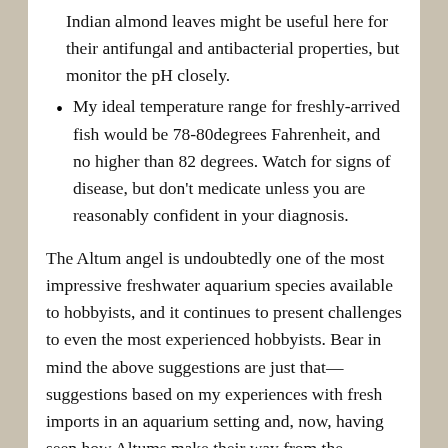Indian almond leaves might be useful here for their antifungal and antibacterial properties, but monitor the pH closely.
My ideal temperature range for freshly-arrived fish would be 78-80degrees Fahrenheit, and no higher than 82 degrees. Watch for signs of disease, but don't medicate unless you are reasonably confident in your diagnosis.
The Altum angel is undoubtedly one of the most impressive freshwater aquarium species available to hobbyists, and it continues to present challenges to even the most experienced hobbyists. Bear in mind the above suggestions are just that—suggestions based on my experiences with fresh imports in an aquarium setting and, now, having seen how Altums make their way from the Orinoco basin to export facilities and then on to home aquariums. Hopefully this provides a small bit of insight into what goes into